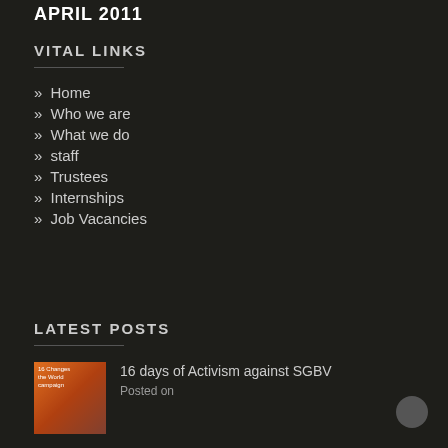APRIL 2011
VITAL LINKS
» Home
» Who we are
» What we do
» staff
» Trustees
» Internships
» Job Vacancies
LATEST POSTS
[Figure (photo): Thumbnail image for '16 days of Activism against SGBV' post showing a book/poster cover]
16 days of Activism against SGBV
Posted on